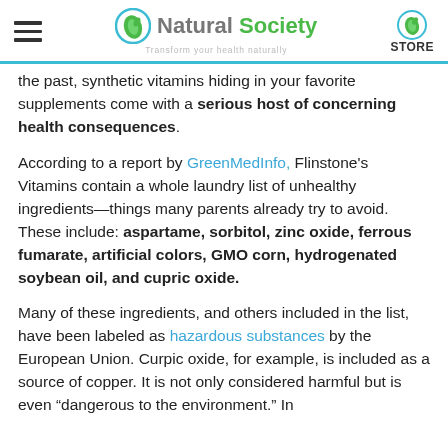Natural Society — Transform your health naturally | STORE
the past, synthetic vitamins hiding in your favorite supplements come with a serious host of concerning health consequences.
According to a report by GreenMedInfo, Flinstone's Vitamins contain a whole laundry list of unhealthy ingredients—things many parents already try to avoid. These include: aspartame, sorbitol, zinc oxide, ferrous fumarate, artificial colors, GMO corn, hydrogenated soybean oil, and cupric oxide.
Many of these ingredients, and others included in the list, have been labeled as hazardous substances by the European Union. Curpic oxide, for example, is included as a source of copper. It is not only considered harmful but is even "dangerous to the environment." In